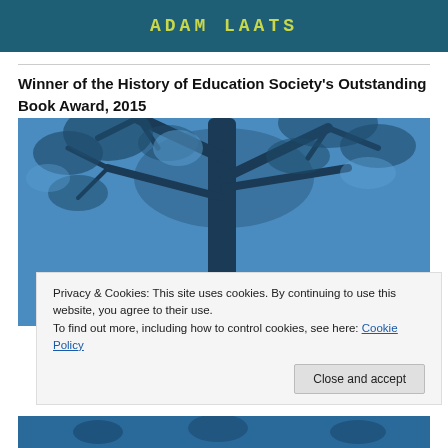ADAM LAATS
Winner of the History of Education Society's Outstanding Book Award, 2015
[Figure (photo): Blue-tinted photograph of tree branches against sky]
Privacy & Cookies: This site uses cookies. By continuing to use this website, you agree to their use.
To find out more, including how to control cookies, see here: Cookie Policy
Close and accept
[Figure (photo): Blue-tinted photograph strip at bottom]